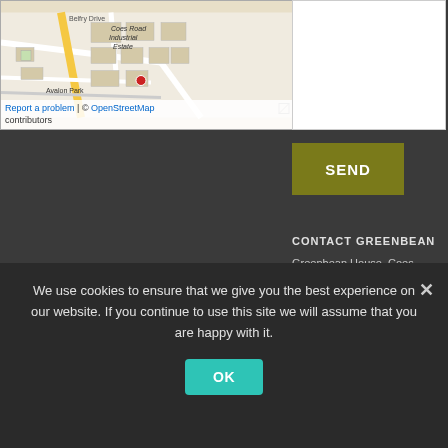[Figure (map): Street map showing Coes Road Industrial Estate, Belfry Drive, Avalon Park area with building outlines]
Report a problem | © OpenStreetMap contributors
View Larger Map
SEND
CONTACT GREENBEAN
Greenbean House, Coes Road, Dundalk, Co Louth, Ireland. A91 XR97
We use cookies to ensure that we give you the best experience on our website. If you continue to use this site we will assume that you are happy with it.
OK